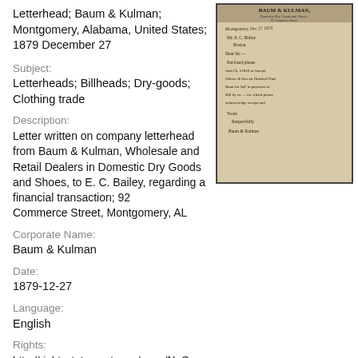Letterhead; Baum & Kulman; Montgomery, Alabama, United States; 1879 December 27
[Figure (photo): Photograph of a handwritten letter on Baum & Kulman company letterhead, dated December 27, 1879, addressed to E. C. Bailey.]
Subject:
Letterheads; Billheads; Dry-goods; Clothing trade
Description:
Letter written on company letterhead from Baum & Kulman, Wholesale and Retail Dealers in Domestic Dry Goods and Shoes, to E. C. Bailey, regarding a financial transaction; 92 Commerce Street, Montgomery, AL
Corporate Name:
Baum & Kulman
Date:
1879-12-27
Language:
English
Rights:
http://rightsstatements.org/page/NoC-US/1.0/?
Collection: